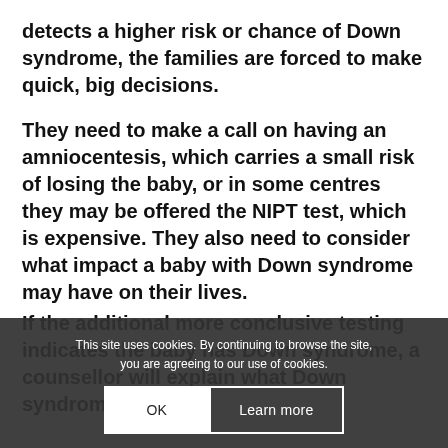detects a higher risk or chance of Down syndrome, the families are forced to make quick, big decisions.
They need to make a call on having an amniocentesis, which carries a small risk of losing the baby, or in some centres they may be offered the NIPT test, which is expensive. They also need to consider what impact a baby with Down syndrome may have on their lives.
If the additional more conclusive testing indicates the baby has Down syndrome, a counsellor will explain what Down syndrome is, but in
This site uses cookies. By continuing to browse the site, you are agreeing to our use of cookies.